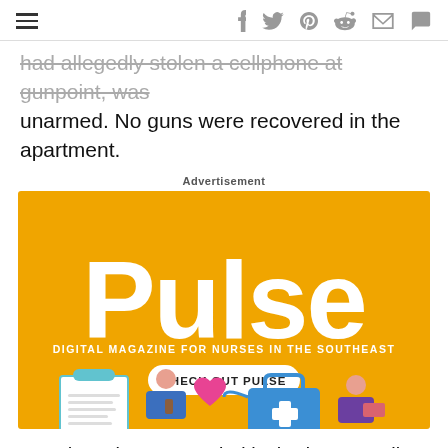Navigation and social share icons (hamburger menu, facebook, twitter, pinterest, reddit, email, comment)
had allegedly stolen a cellphone at gunpoint, was unarmed. No guns were recovered in the apartment.
Advertisement
[Figure (illustration): Pulse digital magazine advertisement with orange background. Large white text reads 'Pulse'. Subtitle: 'DIGITAL MAGAZINE FOR NURSES IN THE SOUTHEAST'. Button reads 'CHECK OUT PULSE'. Illustrated figures of nurses/healthcare workers with medical icons.]
ARD has since expanded its body cam policy and